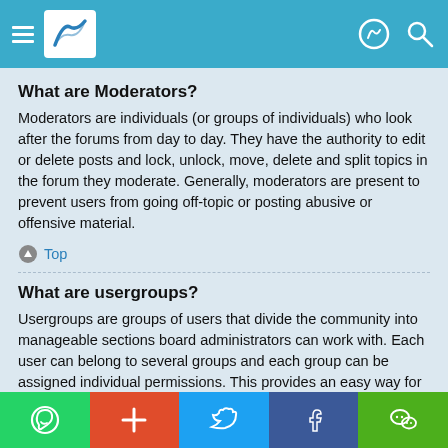[Figure (screenshot): App navigation header bar with hamburger menu, logo, and action icons on teal background]
What are Moderators?
Moderators are individuals (or groups of individuals) who look after the forums from day to day. They have the authority to edit or delete posts and lock, unlock, move, delete and split topics in the forum they moderate. Generally, moderators are present to prevent users from going off-topic or posting abusive or offensive material.
Top
What are usergroups?
Usergroups are groups of users that divide the community into manageable sections board administrators can work with. Each user can belong to several groups and each group can be assigned individual permissions. This provides an easy way for administrators to change permissions for many users at once, such as changing moderator permissions or granting users access to a private forum.
[Figure (screenshot): Social share footer bar with WhatsApp, plus, Twitter, Facebook, and WeChat buttons]